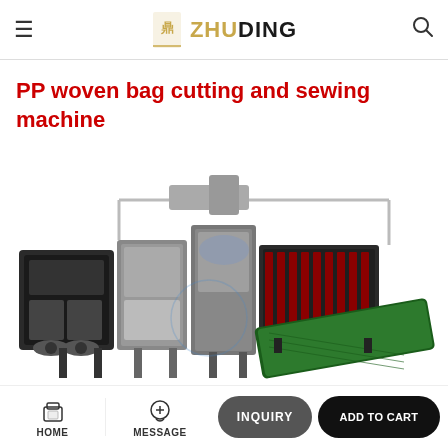ZHUDING
PP woven bag cutting and sewing machine
[Figure (photo): Industrial PP woven bag cutting and sewing machine, a large industrial machine assembly with conveyor belt and multiple processing units, photographed on white background]
HOME | MESSAGE | INQUIRY | ADD TO CART